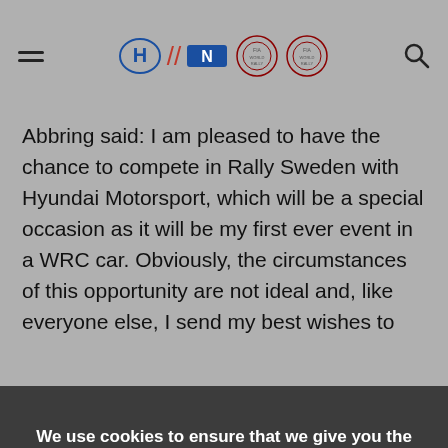Hyundai Motorsport navigation header with hamburger menu, Hyundai Motorsport logo, N logo, championship badges, and search icon
Abbring said: I am pleased to have the chance to compete in Rally Sweden with Hyundai Motorsport, which will be a special occasion as it will be my first ever event in a WRC car. Obviously, the circumstances of this opportunity are not ideal and, like everyone else, I send my best wishes to
We use cookies to ensure that we give you the best experience on our website. If you continue to use this site we will assume that you are happy with it.
Settings
Agree
but I relish this sort of challenge. Whatever happens, it will be a privilege to represent Hyundai Motorsport and the Hyundai Mobis World Rally Team on the WRC stage.
Rally Sweden takes in 21 competitive stages over a distance of 308km. The rally will get underway with Thursday night's traditional super special in Karlstad.